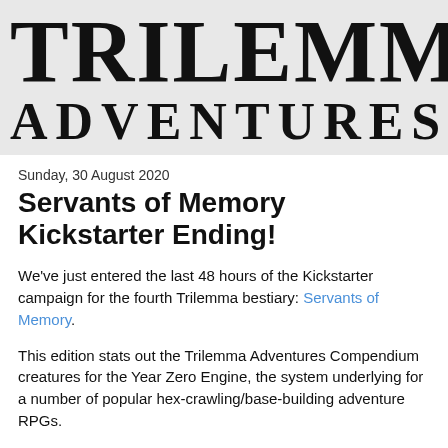[Figure (logo): Trilemma Adventures logo on grey background, large serif text reading TRILEMMA on top line and ADVENTURES on second line]
Sunday, 30 August 2020
Servants of Memory Kickstarter Ending!
We've just entered the last 48 hours of the Kickstarter campaign for the fourth Trilemma bestiary: Servants of Memory.
This edition stats out the Trilemma Adventures Compendium creatures for the Year Zero Engine, the system underlying for a number of popular hex-crawling/base-building adventure RPGs.
We'd also at the conclusions of the contact has also including...